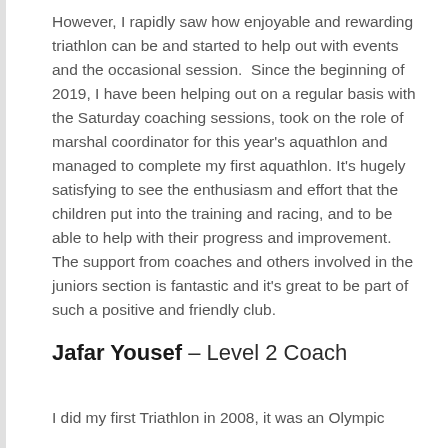However, I rapidly saw how enjoyable and rewarding triathlon can be and started to help out with events and the occasional session.  Since the beginning of 2019, I have been helping out on a regular basis with the Saturday coaching sessions, took on the role of marshal coordinator for this year's aquathlon and managed to complete my first aquathlon. It's hugely satisfying to see the enthusiasm and effort that the children put into the training and racing, and to be able to help with their progress and improvement. The support from coaches and others involved in the juniors section is fantastic and it's great to be part of such a positive and friendly club.
Jafar Yousef – Level 2 Coach
I did my first Triathlon in 2008, it was an Olympic